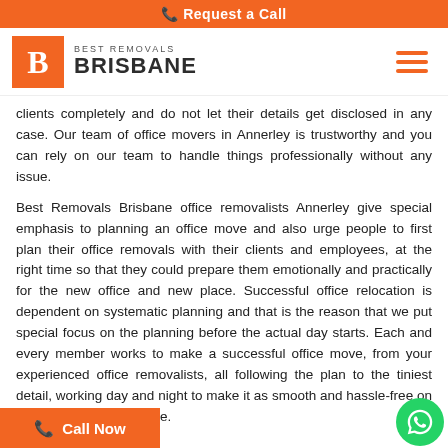Request a Call
[Figure (logo): Best Removals Brisbane logo: orange square with white B, company name in dark text]
clients completely and do not let their details get disclosed in any case. Our team of office movers in Annerley is trustworthy and you can rely on our team to handle things professionally without any issue.
Best Removals Brisbane office removalists Annerley give special emphasis to planning an office move and also urge people to first plan their office removals with their clients and employees, at the right time so that they could prepare them emotionally and practically for the new office and new place. Successful office relocation is dependent on systematic planning and that is the reason that we put special focus on the planning before the actual day starts. Each and every member works to make a successful office move, from your experienced office removalists, all following the plan to the tiniest detail, working day and night to make it as smooth and hassle-free on a moving day as possible.